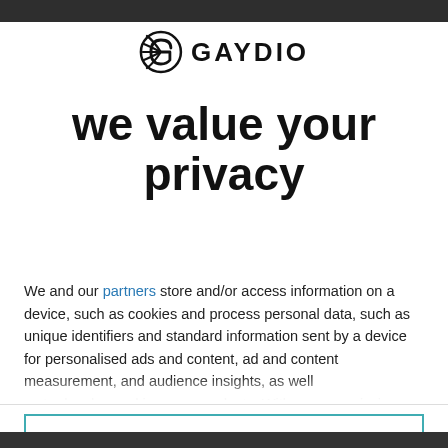[Figure (logo): Gaydio logo: circular G icon with radiating lines on the left, bold 'GAYDIO' text in black capitals on the right]
we value your privacy
We and our partners store and/or access information on a device, such as cookies and process personal data, such as unique identifiers and standard information sent by a device for personalised ads and content, ad and content measurement, and audience insights, as well as to develop and improve products. With your permission we and our
AGREE
MORE OPTIONS